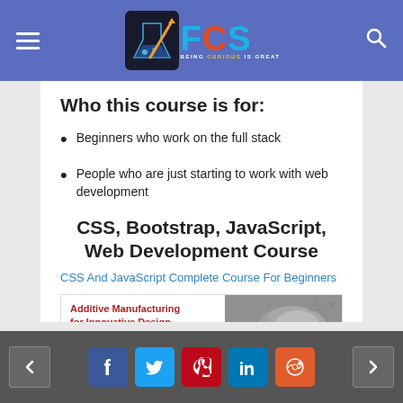FCS - BEING CURIOUS IS GREAT
Who this course is for:
Beginners who work on the full stack
People who are just starting to work with web development
CSS, Bootstrap, JavaScript, Web Development Course
CSS And JavaScript Complete Course For Beginners
[Figure (photo): Advertisement banner for Additive Manufacturing for Innovative Design and Production book/course, showing a 3D printed mechanical part image on the right side.]
Social share buttons: Facebook, Twitter, Pinterest, LinkedIn, Reddit; navigation arrows